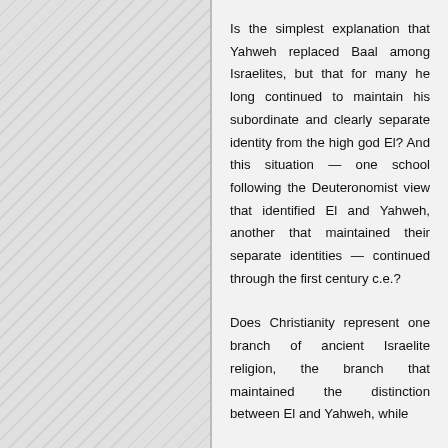Is the simplest explanation that Yahweh replaced Baal among Israelites, but that for many he long continued to maintain his subordinate and clearly separate identity from the high god El? And this situation — one school following the Deuteronomist view that identified El and Yahweh, another that maintained their separate identities — continued through the first century c.e.?
Does Christianity represent one branch of ancient Israelite religion, the branch that maintained the distinction between El and Yahweh, while